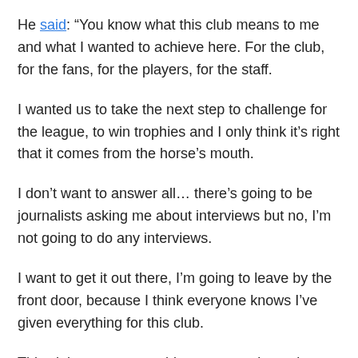He said: “You know what this club means to me and what I wanted to achieve here. For the club, for the fans, for the players, for the staff.
I wanted us to take the next step to challenge for the league, to win trophies and I only think it’s right that it comes from the horse’s mouth.
I don’t want to answer all… there’s going to be journalists asking me about interviews but no, I’m not going to do any interviews.
I want to get it out there, I’m going to leave by the front door, because I think everyone knows I’ve given everything for this club.
This club means everything to me and together we’re a good match, but unfortunately I couldn’t get the results we needed and it’s time for me to step aside.”